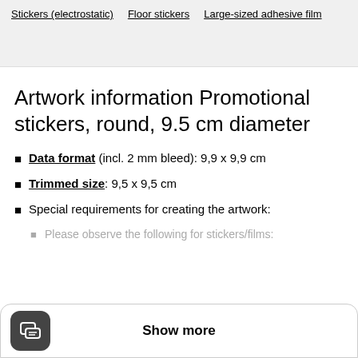Stickers (electrostatic)   Floor stickers   Large-sized adhesive film
Artwork information Promotional stickers, round, 9.5 cm diameter
Data format (incl. 2 mm bleed): 9,9 x 9,9 cm
Trimmed size: 9,5 x 9,5 cm
Special requirements for creating the artwork:
Please observe the following for stickers/films: